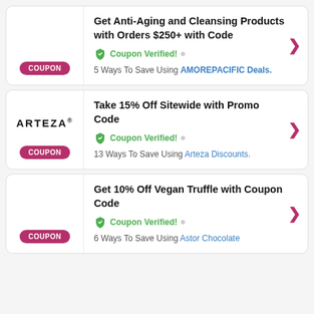[Figure (other): Coupon card 1: COUPON badge on left, title 'Get Anti-Aging and Cleansing Products with Orders $250+ with Code', Coupon Verified!, 5 Ways To Save Using AMOREPACIFIC Deals.]
[Figure (other): Coupon card 2: ARTEZA logo on left, COUPON badge, title 'Take 15% Off Sitewide with Promo Code', Coupon Verified!, 13 Ways To Save Using Arteza Discounts.]
[Figure (other): Coupon card 3: COUPON badge on left, title 'Get 10% Off Vegan Truffle with Coupon Code', Coupon Verified!, 6 Ways To Save Using Astor Chocolate]